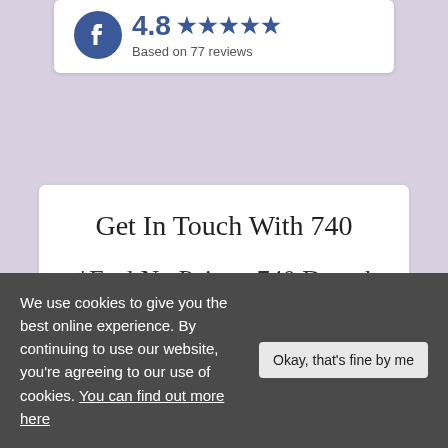[Figure (other): Facebook rating widget showing 4.8 stars based on 77 reviews]
Get In Touch With 740
*Feel No Pain at 740 Dental
We use cookies to give you the best online experience. By continuing to use our website, you're agreeing to our use of cookies. You can find out more here